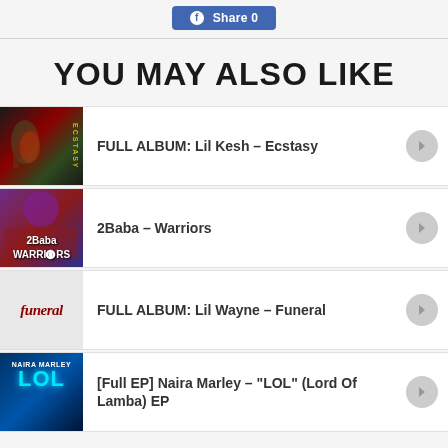Share 0
YOU MAY ALSO LIKE
FULL ALBUM: Lil Kesh – Ecstasy
2Baba – Warriors
FULL ALBUM: Lil Wayne – Funeral
[Full EP] Naira Marley – "LOL" (Lord Of Lamba) EP